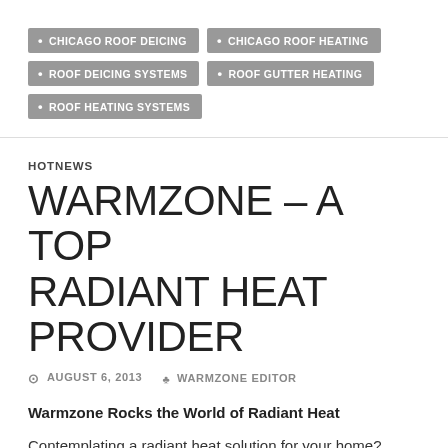CHICAGO ROOF DEICING
CHICAGO ROOF HEATING
ROOF DEICING SYSTEMS
ROOF GUTTER HEATING
ROOF HEATING SYSTEMS
HOTNEWS
WARMZONE – A TOP RADIANT HEAT PROVIDER
AUGUST 6, 2013   WARMZONE EDITOR
Warmzone Rocks the World of Radiant Heat
Contemplating a radiant heat solution for your home? Before